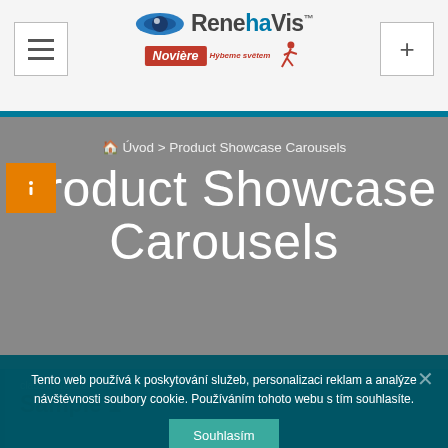[Figure (logo): RenehaVis and Novière logos in header]
Product Showcase Carousels
Úvod › Product Showcase Carousels
Tento web používá k poskytování služeb, personalizaci reklam a analýze návštévnosti soubory cookie. Používáním tohoto webu s tím souhlasíte.
classic product carousel
Sample 1